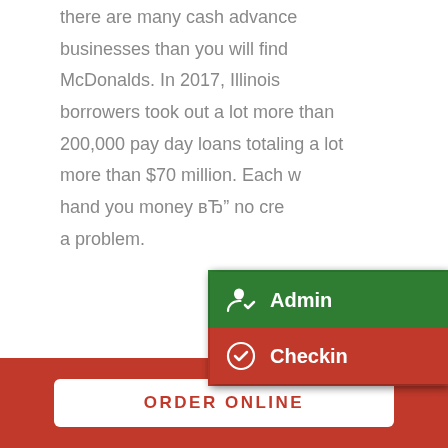there are many cash advance businesses than you will find McDonalds. In 2017, Illinois borrowers took out a lot more than 200,000 pay day loans totaling a lot more than $70 million. Each will hand you money вЂ" no credit a problem.
[Figure (screenshot): Dropdown menu overlay with two options: 'Admin' on a dark green background with a person-check icon, and 'Checkin' on a red background with a check-circle icon.]
The appeal of simple cash caught one girl, whom WGN is calling Jane. She had been ashamed to admit she ended up being economically hopeless and thought she had nowhere else to make for assistance.
ORDER ONLINE